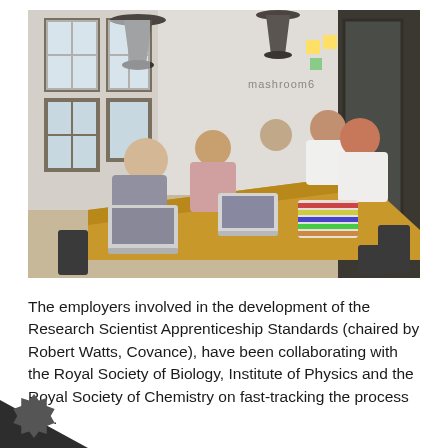[Figure (photo): People sitting around a long wooden conference table in a modern office, working on laptops and tablets. Pendant lights hang from the ceiling. A sign reading 'mashroom6' is visible on the wall in the background.]
The employers involved in the development of the Research Scientist Apprenticeship Standards (chaired by Robert Watts, Covance), have been collaborating with the Royal Society of Biology, Institute of Physics and the Royal Society of Chemistry on fast-tracking the process in ...